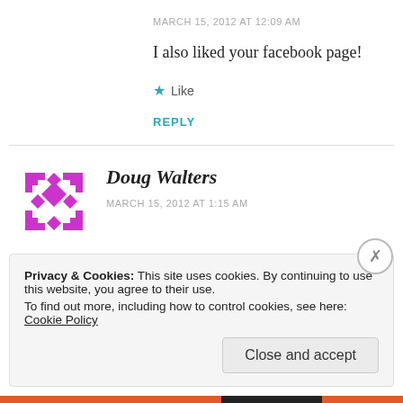MARCH 15, 2012 AT 12:09 AM
I also liked your facebook page!
★ Like
REPLY
[Figure (illustration): Purple pixel/mosaic avatar icon for Doug Walters]
Doug Walters
MARCH 15, 2012 AT 1:15 AM
Privacy & Cookies: This site uses cookies. By continuing to use this website, you agree to their use. To find out more, including how to control cookies, see here: Cookie Policy
Close and accept